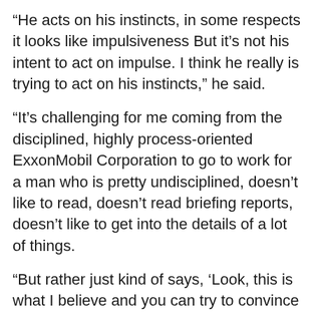“He acts on his instincts, in some respects it looks like impulsiveness But it’s not his intent to act on impulse. I think he really is trying to act on his instincts,” he said.
“It’s challenging for me coming from the disciplined, highly process-oriented ExxonMobil Corporation to go to work for a man who is pretty undisciplined, doesn’t like to read, doesn’t read briefing reports, doesn’t like to get into the details of a lot of things.
“But rather just kind of says, ‘Look, this is what I believe and you can try to convince me otherwise,’ but most of the time you’re not going to do that,” Tillerson said.
Tillerson was the first Secretary of State in the Trump administration. They had never met till the day Tillerson